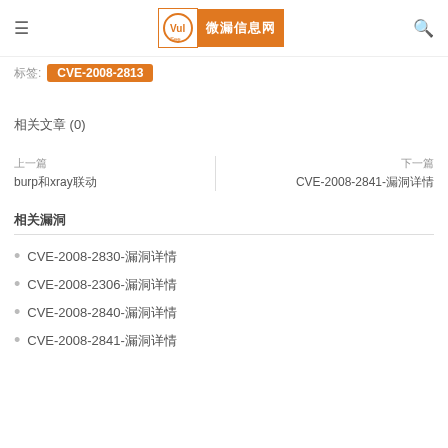≡  VulSee 微漏信息网  🔍
标签: CVE-2008-2813
相关文章 (0)
上一篇
burp和xray联动
下一篇
CVE-2008-2841-漏洞详情
相关漏洞
CVE-2008-2830-漏洞详情
CVE-2008-2306-漏洞详情
CVE-2008-2840-漏洞详情
CVE-2008-2841-漏洞详情